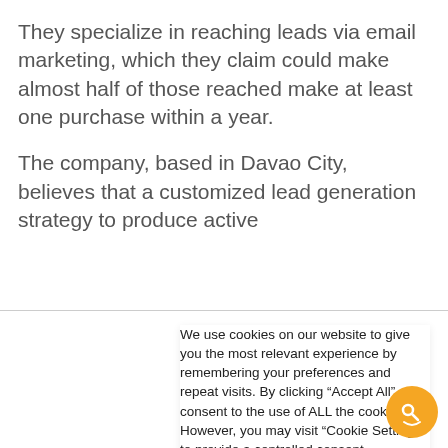They specialize in reaching leads via email marketing, which they claim could make almost half of those reached make at least one purchase within a year.
The company, based in Davao City, believes that a customized lead generation strategy to produce active
We use cookies on our website to give you the most relevant experience by remembering your preferences and repeat visits. By clicking “Accept All”, you consent to the use of ALL the cookies. However, you may visit “Cookie Settings” to provide a controlled consent.
Cookie Settings
Accept All